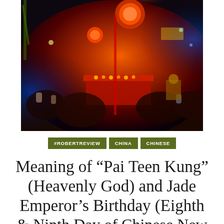[Figure (photo): Night festival scene with large crowds gathered around a red ceremonial altar table covered with offerings. Red and orange Chinese lanterns hang overhead. The scene is lit with colorful festival lights in a busy street setting, shot with a wide-angle fisheye lens.]
#ROBERTREVIEW   CHINA   CHINESE
Meaning of “Pai Teen Kung” (Heavenly God) and Jade Emperor’s Birthday (Eighth & Ninth Day of Chinese New…